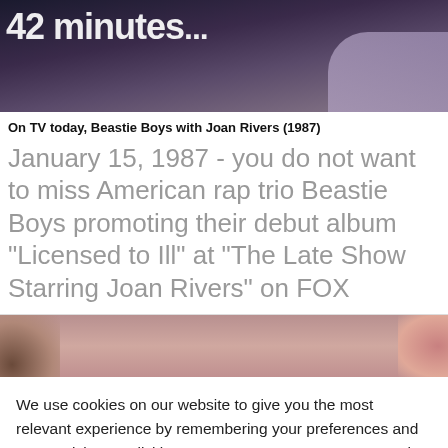[Figure (screenshot): Video thumbnail showing blurry figures, partial text '42 minutes' visible at top left]
On TV today, Beastie Boys with Joan Rivers (1987)
January 15, 1987 - you do not want to miss American rap trio Beastie Boys promoting their debut album "Licensed to Ill" at "The Late Show Starring Joan Rivers" on FOX
[Figure (screenshot): Partial video thumbnail with blurry pinkish-red tones]
We use cookies on our website to give you the most relevant experience by remembering your preferences and repeat visits. By clicking "ACCEPT ALL", you consent to the use of ALL the cookies. However, you may visit "Cookie Settings" to provide a controlled consent.
Cookie Settings | REJECT ALL | ACCEPT ALL